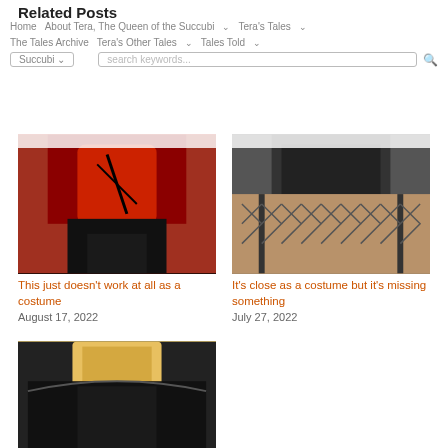Related Posts
[Figure (photo): Woman wearing red and black corset costume with lace-up front]
This just doesn't work at all as a costume
August 17, 2022
[Figure (photo): Woman in black bodysuit with fishnet stockings]
It's close as a costume but it's missing something
July 27, 2022
[Figure (photo): Blonde woman in black outfit with cape and horns]
Better to lose the cape and keep the horns
August 24, 2022
[Figure (photo): Woman in red latex costume]
[Figure (photo): Woman in lace black and pink costume]